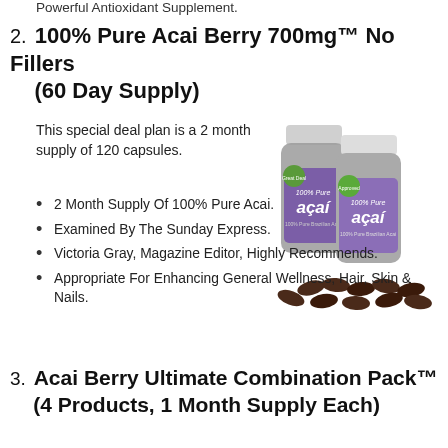Powerful Antioxidant Supplement.
2. 100% Pure Acai Berry 700mg™ No Fillers (60 Day Supply)
This special deal plan is a 2 month supply of 120 capsules.
[Figure (photo): Two bottles of 100% Pure Acai supplement with loose capsules in front]
2 Month Supply Of 100% Pure Acai.
Examined By The Sunday Express.
Victoria Gray, Magazine Editor, Highly Recommends.
Appropriate For Enhancing General Wellness, Hair, Skin & Nails.
3. Acai Berry Ultimate Combination Pack™ (4 Products, 1 Month Supply Each)